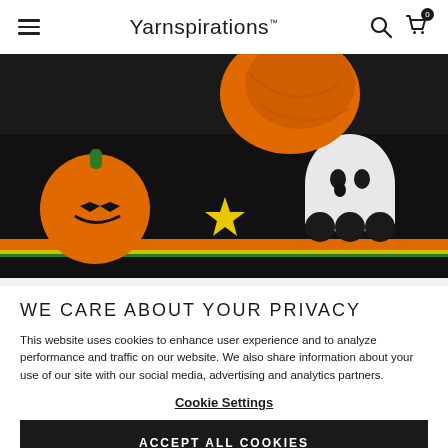Yarnspirations
[Figure (photo): Halloween-themed knitted/crocheted items including a dark table runner with orange pumpkin, yellow star, and ghost appliqués, with orange yarn ball in background]
WE CARE ABOUT YOUR PRIVACY
This website uses cookies to enhance user experience and to analyze performance and traffic on our website. We also share information about your use of our site with our social media, advertising and analytics partners.
Cookie Settings
ACCEPT ALL COOKIES